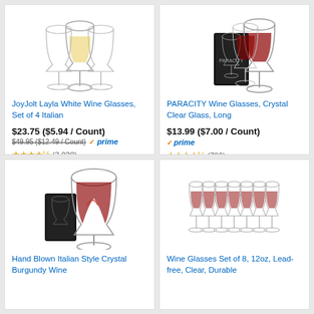[Figure (photo): JoyJolt Layla white wine glasses set of 4, product photo showing glasses with white wine]
JoyJolt Layla White Wine Glasses, Set of 4 Italian
$23.75 ($5.94 / Count)
$49.95 ($12.49 / Count) prime
★★★★☆ (3,928)
[Figure (photo): PARACITY Wine Glasses, Crystal Clear Glass, Long - product photo showing two red wine glasses with box]
PARACITY Wine Glasses, Crystal Clear Glass, Long
$13.99 ($7.00 / Count)
prime
★★★★☆ (786)
[Figure (photo): Hand Blown Italian Style Crystal Burgundy Wine - product photo showing large burgundy wine glass with box]
Hand Blown Italian Style Crystal Burgundy Wine
[Figure (photo): Wine Glasses Set of 8, 12oz, Lead-free, Clear, Durable - product photo showing 8 wine glasses in a row]
Wine Glasses Set of 8, 12oz, Lead-free, Clear, Durable